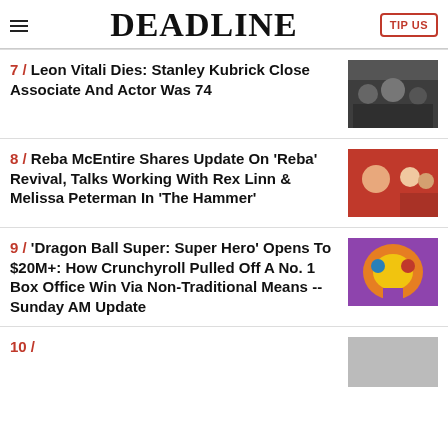DEADLINE
7 / Leon Vitali Dies: Stanley Kubrick Close Associate And Actor Was 74
8 / Reba McEntire Shares Update On 'Reba' Revival, Talks Working With Rex Linn & Melissa Peterman In 'The Hammer'
9 / 'Dragon Ball Super: Super Hero' Opens To $20M+: How Crunchyroll Pulled Off A No. 1 Box Office Win Via Non-Traditional Means -- Sunday AM Update
10 / (partially visible)